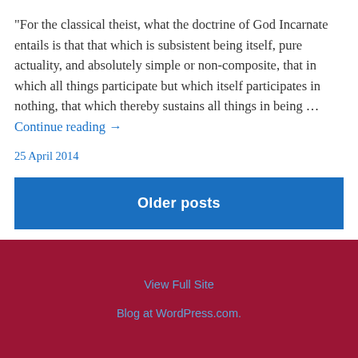"For the classical theist, what the doctrine of God Incarnate entails is that that which is subsistent being itself, pure actuality, and absolutely simple or non-composite, that in which all things participate but which itself participates in nothing, that which thereby sustains all things in being … Continue reading →
25 April 2014
Older posts
View Full Site
Blog at WordPress.com.